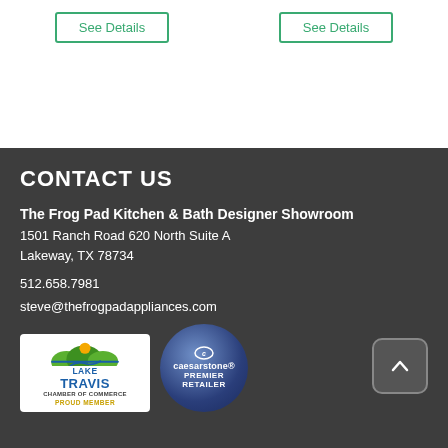See Details
See Details
CONTACT US
The Frog Pad Kitchen & Bath Designer Showroom
1501 Ranch Road 620 North Suite A
Lakeway, TX 78734
512.658.7981
steve@thefrogpadappliances.com
[Figure (logo): Lake Travis Chamber of Commerce - Proud Member logo]
[Figure (logo): Caesarstone Premier Retailer badge]
[Figure (other): Scroll to top button with upward chevron arrow]